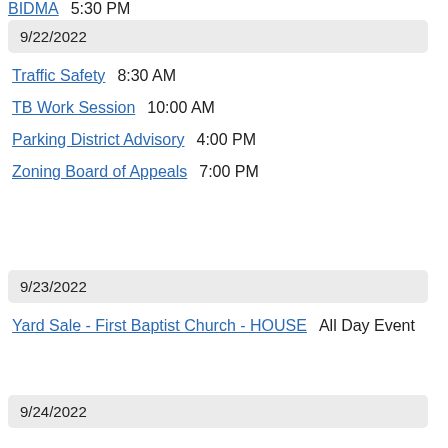BIDMA   5:30 PM
9/22/2022
Traffic Safety   8:30 AM
TB Work Session   10:00 AM
Parking District Advisory   4:00 PM
Zoning Board of Appeals   7:00 PM
9/23/2022
Yard Sale - First Baptist Church - HOUSE   All Day Event
9/24/2022